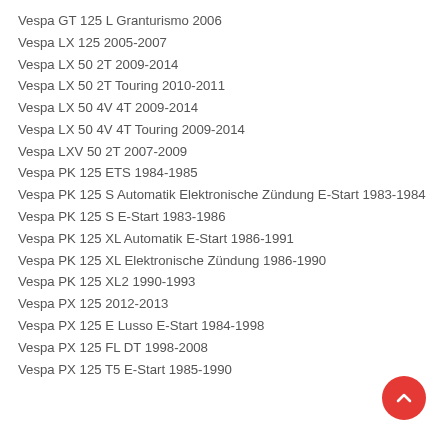Vespa GT 125 L Granturismo 2006
Vespa LX 125 2005-2007
Vespa LX 50 2T 2009-2014
Vespa LX 50 2T Touring 2010-2011
Vespa LX 50 4V 4T 2009-2014
Vespa LX 50 4V 4T Touring 2009-2014
Vespa LXV 50 2T 2007-2009
Vespa PK 125 ETS 1984-1985
Vespa PK 125 S Automatik Elektronische Zündung E-Start 1983-1984
Vespa PK 125 S E-Start 1983-1986
Vespa PK 125 XL Automatik E-Start 1986-1991
Vespa PK 125 XL Elektronische Zündung 1986-1990
Vespa PK 125 XL2 1990-1993
Vespa PX 125 2012-2013
Vespa PX 125 E Lusso E-Start 1984-1998
Vespa PX 125 FL DT 1998-2008
Vespa PX 125 T5 E-Start 1985-1990